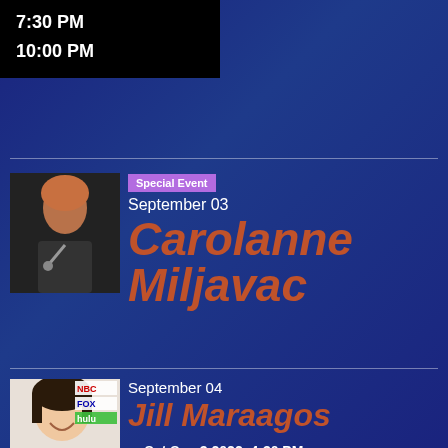7:30 PM
10:00 PM
Special Event
September 03
Carolanne Miljavac
Sat Sep 3 2022, 4:30 PM
BUY TICKETS
[Figure (photo): Comedian performer photo - woman with microphone]
September 04
Jill Maraaos
[Figure (photo): Headshot photo of comedian Jill Maraagos with NBC, FOX, hulu logos]